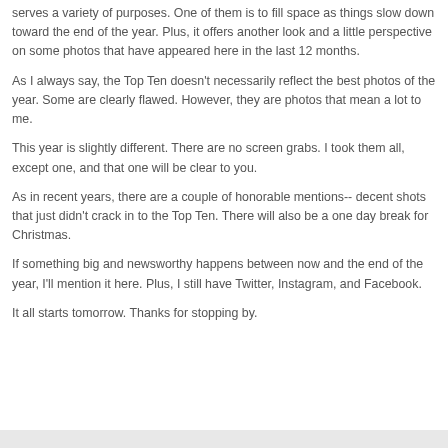serves a variety of purposes.  One of them is to fill space as things slow down toward the end of the year.  Plus, it offers another look and a little perspective on some photos that have appeared here in the last 12 months.
As I always say, the Top Ten doesn't necessarily reflect the best photos of the year.  Some are clearly flawed.  However, they are photos that mean a lot to me.
This year is slightly different.  There are no screen grabs.  I took them all, except one, and that one will be clear to you.
As in recent years, there are a couple of honorable mentions-- decent shots that just didn't crack in to the Top Ten.  There will also be a one day break for Christmas.
If something big and newsworthy happens between now and the end of the year, I'll mention it here.  Plus, I still have Twitter, Instagram, and Facebook.
It all starts tomorrow.  Thanks for stopping by.